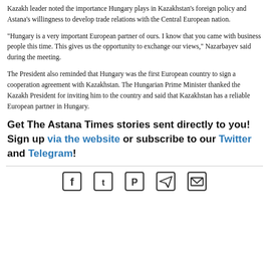Kazakh leader noted the importance Hungary plays in Kazakhstan's foreign policy and Astana's willingness to develop trade relations with the Central European nation.
“Hungary is a very important European partner of ours. I know that you came with business people this time. This gives us the opportunity to exchange our views,” Nazarbayev said during the meeting.
The President also reminded that Hungary was the first European country to sign a cooperation agreement with Kazakhstan. The Hungarian Prime Minister thanked the Kazakh President for inviting him to the country and said that Kazakhstan has a reliable European partner in Hungary.
Get The Astana Times stories sent directly to you! Sign up via the website or subscribe to our Twitter and Telegram!
[Figure (other): Social media icons: Facebook, Twitter, Pinterest, Telegram, Email]